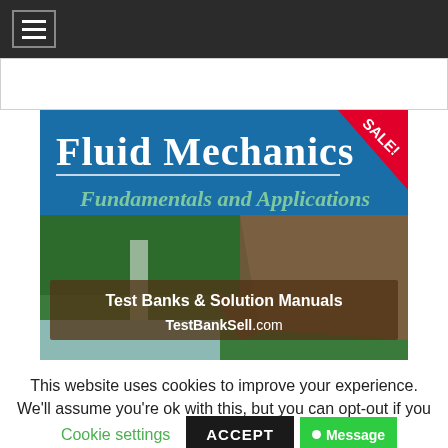Navigation menu bar
[Figure (screenshot): Book cover for 'Fluid Mechanics: Fundamentals and Applications' with a waterfall/cliff landscape background and a red SALE! badge in the top right corner. Overlay banner reads 'Test Banks & Solution Manuals TestBankSell.com']
This website uses cookies to improve your experience. We'll assume you're ok with this, but you can opt-out if you wish.
Cookie settings   ACCEPT   Message